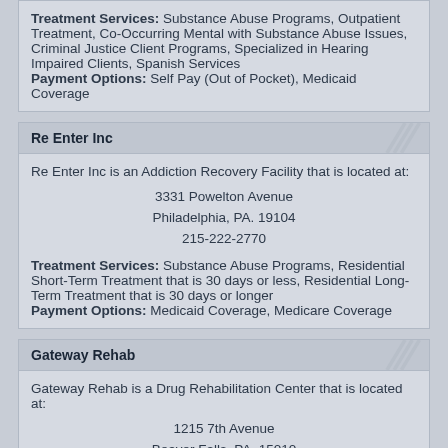Treatment Services: Substance Abuse Programs, Outpatient Treatment, Co-Occurring Mental with Substance Abuse Issues, Criminal Justice Client Programs, Specialized in Hearing Impaired Clients, Spanish Services
Payment Options: Self Pay (Out of Pocket), Medicaid Coverage
Re Enter Inc
Re Enter Inc is an Addiction Recovery Facility that is located at:

3331 Powelton Avenue
Philadelphia, PA. 19104
215-222-2770

Treatment Services: Substance Abuse Programs, Residential Short-Term Treatment that is 30 days or less, Residential Long-Term Treatment that is 30 days or longer
Payment Options: Medicaid Coverage, Medicare Coverage
Gateway Rehab
Gateway Rehab is a Drug Rehabilitation Center that is located at:

1215 7th Avenue
Beaver Falls, PA. 15010
724-846-6145 x2130